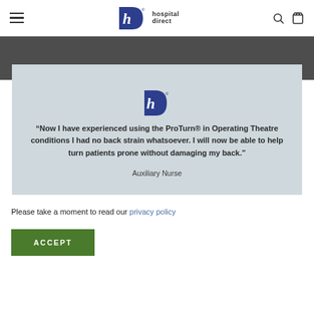hospital direct
[Figure (logo): Hospital Direct logo — stylized h in a blue D shape with 'hospital direct' text]
“Now I have experienced using the ProTurn® in Operating Theatre conditions I had no back strain whatsoever. I will now be able to help turn patients prone without damaging my back.”
Auxiliary Nurse
Please take a moment to read our privacy policy
ACCEPT